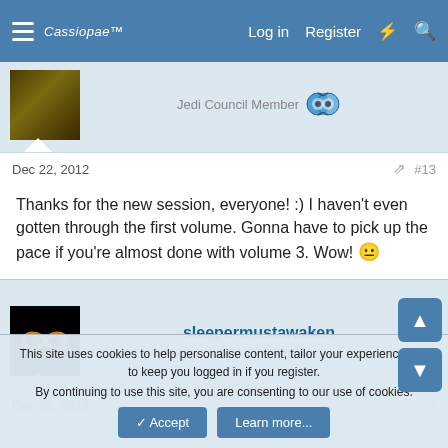Cassiopae™  Log in  Register
Jedi Council Member
Dec 22, 2012  #13
Thanks for the new session, everyone! :) I haven't even gotten through the first volume. Gonna have to pick up the pace if you're almost done with volume 3. Wow! 😐
sleepermustawaken
Padawan Learner
Dec 22, 2012  #14
This site uses cookies to help personalise content, tailor your experience and to keep you logged in if you register.
By continuing to use this site, you are consenting to our use of cookies.